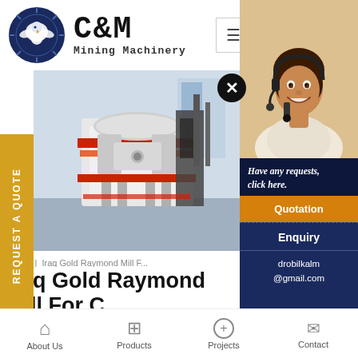[Figure (logo): C&M Mining Machinery logo — circular dark navy emblem with eagle, bold block text 'C&M' and 'Mining Machinery' in monospace font]
[Figure (photo): Industrial mining machinery / crusher equipment in a factory setting with red and white components]
[Figure (photo): Customer service representative woman wearing headset smiling, with dark navy overlay panel showing 'Have any requests, click here.' text, Quotation button, Enquiry section, and email drobilkalm@gmail.com]
REQUEST A QUOTE
Home | Iraq Gold Raymond Mill F...
Iraq Gold Raymond Mill For C... Price
Have any requests, click here.
Quotation
Enquiry
drobilkalm@gmail.com
About Us   Products   Projects   Contact